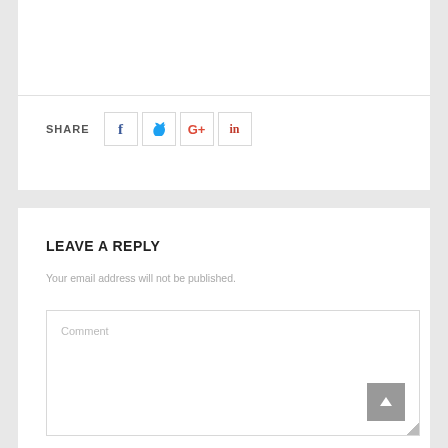SHARE
[Figure (screenshot): Social share icons: Facebook (f), Twitter (bird), Google+ (G+), LinkedIn (in)]
LEAVE A REPLY
Your email address will not be published.
Comment